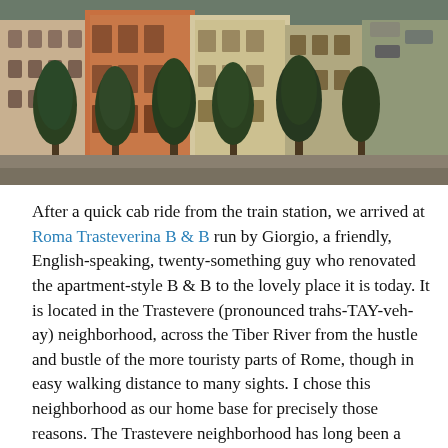[Figure (photo): Street-level view of Rome showing historic buildings with colorful facades (ochre, red, beige), tall trees lining a piazza, and traffic/cars visible in the background. The scene appears to be Piazza Trilussa or a similar Trastevere area square.]
After a quick cab ride from the train station, we arrived at Roma Trasteverina B & B run by Giorgio, a friendly, English-speaking, twenty-something guy who renovated the apartment-style B & B to the lovely place it is today. It is located in the Trastevere (pronounced trahs-TAY-veh-ay) neighborhood, across the Tiber River from the hustle and bustle of the more touristy parts of Rome, though in easy walking distance to many sights. I chose this neighborhood as our home base for precisely those reasons. The Trastevere neighborhood has long been a working class area, though it is slowly succumbing to gentrification with its increased popularity. It is a lively area